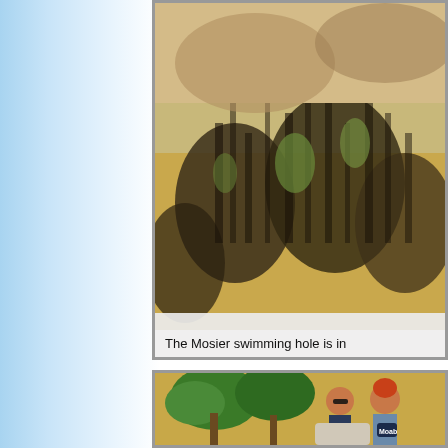[Figure (photo): Aerial or close-up view of rocky terrain with dry golden grasses and dark volcanic or basalt rock formations, likely near the Mosier swimming hole area]
The Mosier swimming hole is in
[Figure (photo): Two people standing outdoors near a monument or sign, surrounded by green trees and dry hillside. One person wears a Moab cycling jersey. The other wears sunglasses.]